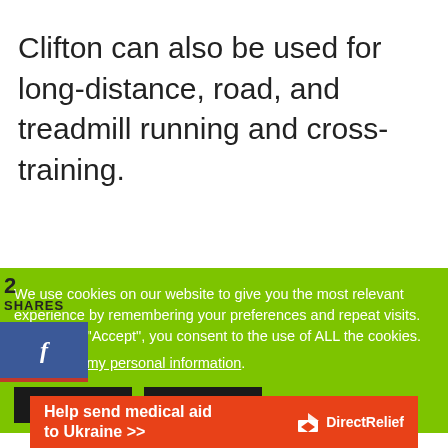Clifton can also be used for long-distance, road, and treadmill running and cross-training.
2
SHARES
[Figure (other): Facebook share button with blue background and 'f' icon, with red bottom border]
We use cookies on our website to give you the most relevant experience by remembering your preferences and repeat visits. By clicking “Accept”, you consent to the use of ALL the cookies.
Do not sell my personal information.
[Figure (other): Two dark buttons for cookie consent options]
[Figure (other): Direct Relief advertisement banner: 'Help send medical aid to Ukraine >>' with Direct Relief logo on orange/red background]